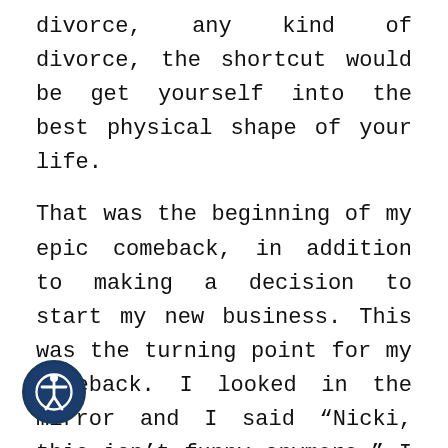divorce, any kind of divorce, the shortcut would be get yourself into the best physical shape of your life.
That was the beginning of my epic comeback, in addition to making a decision to start my new business. This was the turning point for my comeback. I looked in the mirror and I said “Nicki, this isn’t funny anymore.” I had gained 30 pounds over my happy weight and I had spent three years not working out, which isn’t normal for me, and eating comfort fo...